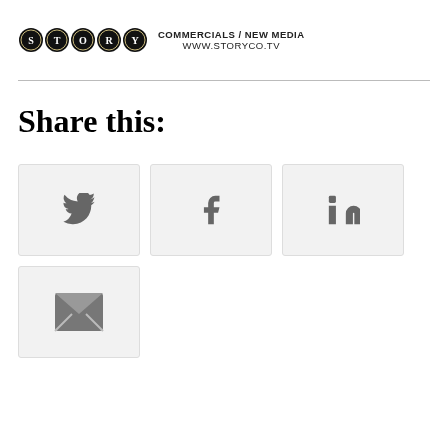[Figure (logo): STORY company logo with circular badge letters and text COMMERCIALS / NEW MEDIA and WWW.STORYCO.TV]
Share this:
[Figure (infographic): Four social share buttons: Twitter (bird icon), Facebook (f icon), LinkedIn (in icon), Email (envelope icon)]